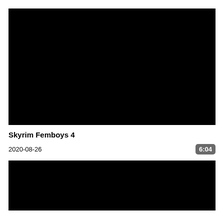[Figure (screenshot): Black video thumbnail for Skyrim Femboys 4]
Skyrim Femboys 4
2020-08-26
6:04
[Figure (screenshot): Black video thumbnail (partial, second video)]